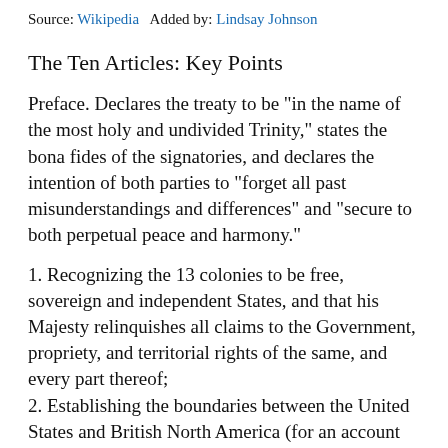Source: Wikipedia   Added by: Lindsay Johnson
The Ten Articles: Key Points
Preface. Declares the treaty to be "in the name of the most holy and undivided Trinity," states the bona fides of the signatories, and declares the intention of both parties to "forget all past misunderstandings and differences" and "secure to both perpetual peace and harmony."
1. Recognizing the 13 colonies to be free, sovereign and independent States, and that his Majesty relinquishes all claims to the Government, propriety, and territorial rights of the same, and every part thereof;
2. Establishing the boundaries between the United States and British North America (for an account of two strange anomalies resulting from this part of the Treaty, based on inaccuracies in the Mitchell Map, see Northwest Angle and the Republic of Indian Stream);
3. Granting fishing rights to United States fishermen in the Grand Banks, off the coast of Newfoundland